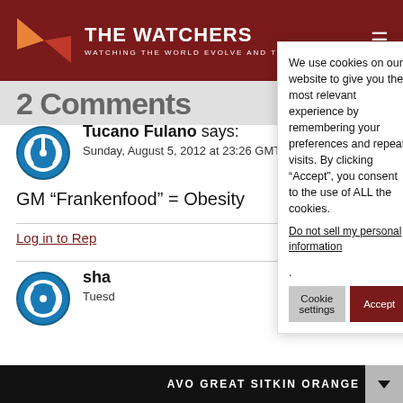THE WATCHERS — WATCHING THE WORLD EVOLVE AND TRANSFORM
2 Comments
Tucano Fulano says:
Sunday, August 5, 2012 at 23:26 GMT+0000
GM “Frankenfood” = Obesity
Log in to Rep
sha
Tuesd
We use cookies on our website to give you the most relevant experience by remembering your preferences and repeat visits. By clicking “Accept”, you consent to the use of ALL the cookies.
Do not sell my personal information.
AVO GREAT SITKIN ORANGE